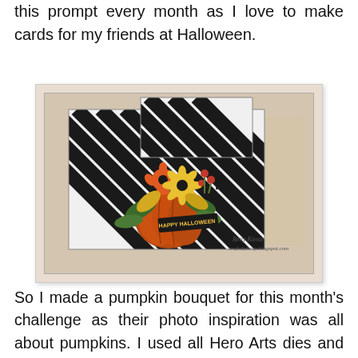this prompt every month as I love to make cards for my friends at Halloween.
[Figure (photo): A handmade Halloween step fold card featuring a black and white diagonal stripe pattern. A decorative pumpkin bouquet with autumn flowers (orange, yellow, red), sunflowers, and green leaves is mounted on the front. A black banner with 'HAPPY HALLOWEEN' text is attached to the pumpkin. The card is signed 'Betty Kieste' with a blog URL in the bottom right corner.]
So I made a pumpkin bouquet for this month's challenge as their photo inspiration was all about pumpkins.  I used all Hero Arts dies and scraps of cs for the bouquet.  The base is a center step fold card.  Difficult to photograph because it kept sliding apart,